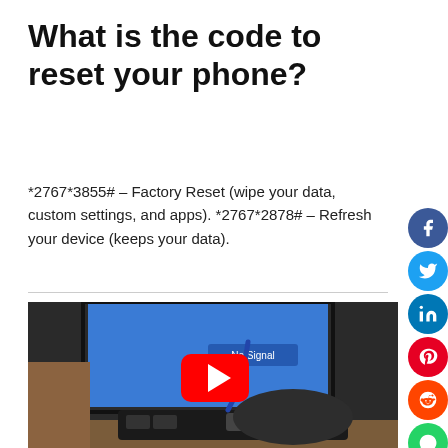What is the code to reset your phone?
*2767*3855# – Factory Reset (wipe your data, custom settings, and apps). *2767*2878# – Refresh your device (keeps your data).
[Figure (screenshot): Video thumbnail showing a hand connecting a cable to a device dock in front of a blue TV screen displaying 'No Signal', with a YouTube play button overlay in the center.]